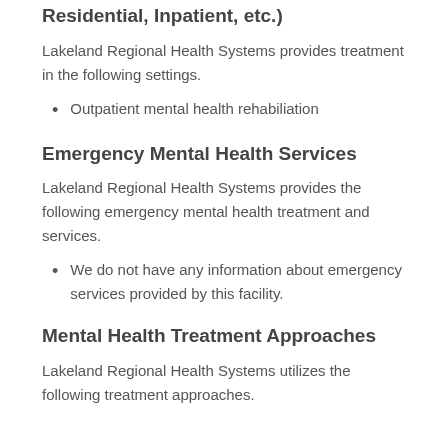Residential, Inpatient, etc.)
Lakeland Regional Health Systems provides treatment in the following settings.
Outpatient mental health rehabiliation
Emergency Mental Health Services
Lakeland Regional Health Systems provides the following emergency mental health treatment and services.
We do not have any information about emergency services provided by this facility.
Mental Health Treatment Approaches
Lakeland Regional Health Systems utilizes the following treatment approaches.